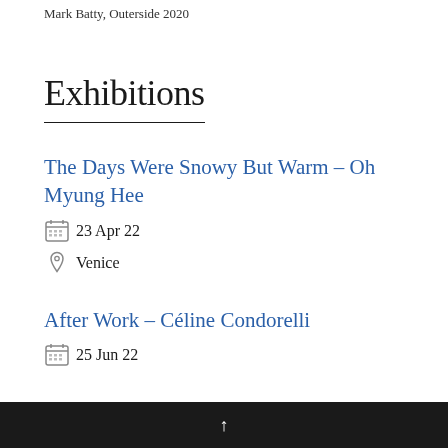Mark Batty, Outerside 2020
Exhibitions
The Days Were Snowy But Warm – Oh Myung Hee
23 Apr 22
Venice
After Work – Céline Condorelli
25 Jun 22
↑